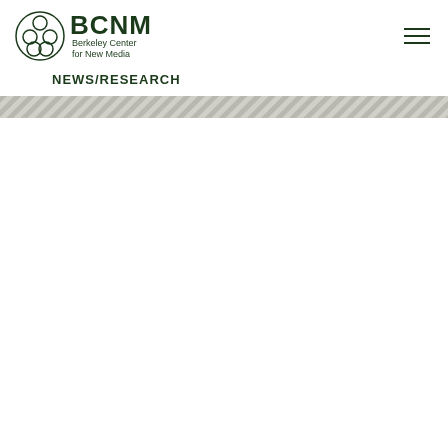[Figure (logo): BCNM Berkeley Center for New Media logo with circular cluster icon]
NEWS/RESEARCH
[Figure (other): Diagonal stripe decorative banner]